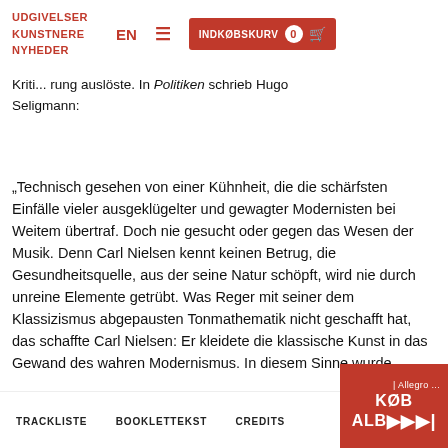UDGIVELSER KUNSTNERE EN ☰ INDKØBSKURV 0 🛒
Druck zugänglich war, den der Komponist selbst bezahlt hatte. Bei der Uraufführung war es wohl ebenso sehr der technische Schw... die d... fre... Kri... rung auslöste. In Politiken schrieb Hugo Seligmann:
„Technisch gesehen von einer Kühnheit, die die schärfsten Einfälle vieler ausgeklügelter und gewagter Modernisten bei Weitem übertraf. Doch nie gesucht oder gegen das Wesen der Musik. Denn Carl Nielsen kennt keinen Betrug, die Gesundheitsquelle, aus der seine Natur schöpft, wird nie durch unreine Elemente getrübt. Was Reger mit seiner dem Klassizismus abgepausten Tonmathematik nicht geschafft hat, das schaffte Carl Nielsen: Er kleidete die klassische Kunst in das Gewand des wahren Modernismus. In diesem Sinne wurde
TRACKLISTE    BOOKLETTEKST    CREDITS